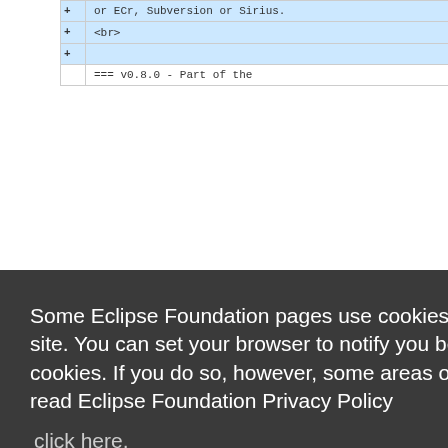| + | or ECr, Subversion or Sirius. |
| + | <br> |
| + |  |
|  | === v0.8.0 - Part of the |
Some Eclipse Foundation pages use cookies to better serve you when you return to the site. You can set your browser to notify you before you receive a cookie or turn off cookies. If you do so, however, some areas of some sites may not function properly. To read Eclipse Foundation Privacy Policy
click here.
Decline
Allow cookies
|  | 0.8.0/EMF-DiffMerge- |